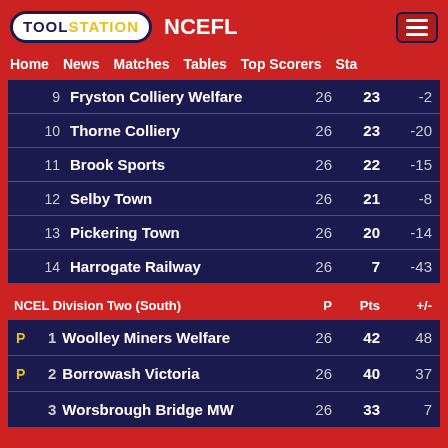TOOLSTATION NCEFL
Home  News  Matches  Tables  Top Scorers  Sta
|  | Pos | Club | P | Pts | +/- |
| --- | --- | --- | --- | --- | --- |
|  | 9 | Fryston Colliery Welfare | 26 | 23 | -2 |
|  | 10 | Thorne Colliery | 26 | 23 | -20 |
|  | 11 | Brook Sports | 26 | 22 | -15 |
|  | 12 | Selby Town | 26 | 21 | -8 |
|  | 13 | Pickering Town | 26 | 20 | -14 |
|  | 14 | Harrogate Railway | 26 | 7 | -43 |
| NCEL Division Two (South) | P | Pts | +/- |
| --- | --- | --- | --- |
| P | 1 | Woolley Miners Welfare | 26 | 42 | 48 |
| P | 2 | Borrowash Victoria | 26 | 40 | 37 |
|  | 3 | Worsbrough Bridge MW | 26 | 33 | 7 |